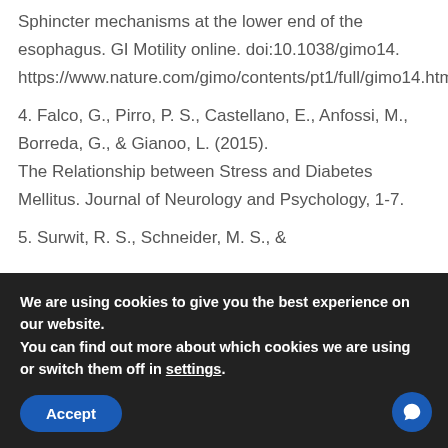Sphincter mechanisms at the lower end of the esophagus. GI Motility online. doi:10.1038/gimo14. https://www.nature.com/gimo/contents/pt1/full/gimo14.html
4. Falco, G., Pirro, P. S., Castellano, E., Anfossi, M., Borreda, G., & Gianoo, L. (2015). The Relationship between Stress and Diabetes Mellitus. Journal of Neurology and Psychology, 1-7.
5. Surwit, R. S., Schneider, M. S., &
We are using cookies to give you the best experience on our website.
You can find out more about which cookies we are using or switch them off in settings.